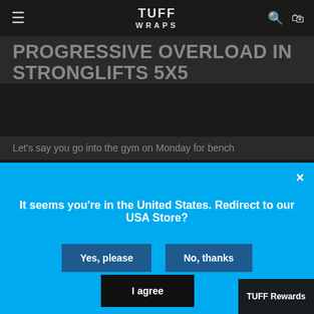TUFF WRAPS
PROGRESSIVE OVERLOAD IN STRONGLIFTS 5X5
Let's say you go into the gym on Monday for bench
[Figure (screenshot): Blue modal popup asking 'It seems you're in the United States. Redirect to our USA Store?' with 'Yes, please' and 'No, thanks' buttons]
shopping experience. By using this site, you agree to its use of cookies.
the lifting. Stronglifts has been around for 5X5 so you will certainly find the work. But getting no benefit.
The key to building muscle and strength is progressive overload. You constantly need to be adding